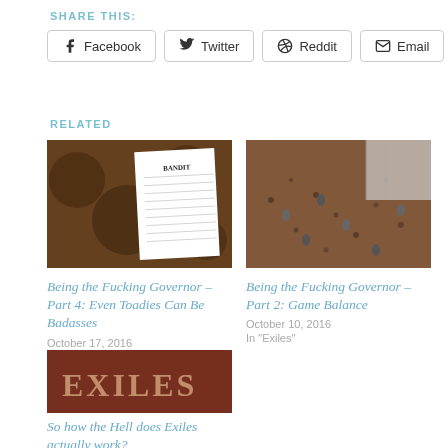SHARE THIS:
Facebook  Twitter  Reddit  Email
RELATED
[Figure (photo): Photo of a bandit character sheet on a brown stone/wood background]
Being the Fucking Governor – Part 4: Even Toadies Can Be Badasses
October 17, 2016
In "Exiles"
[Figure (photo): Aerial view of tabletop game miniatures on a brown terrain board]
Being the Fucking Governor – Part 2: Game Balance
October 10, 2016
In "Exiles"
[Figure (photo): Exiles logo text on a red-brown background]
So how the Hell does Exiles actually work?